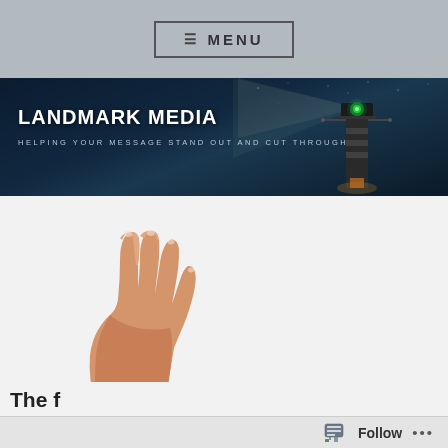≡ MENU
[Figure (screenshot): Landmark Media website hero banner with a lighthouse at night, showing the text 'LANDMARK MEDIA' and subtitle 'HELPING YOUR MESSAGE STAND OUT AND CUT THROUGH']
LANDMARK MEDIA
HELPING YOUR MESSAGE STAND OUT AND CUT THROUGH
[Figure (photo): A hand raised with four fingers extended, shown against a light grey background]
The f... (partial text cut off at bottom of page)